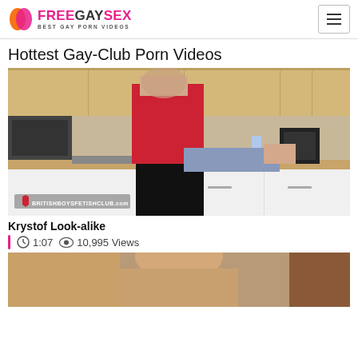FREEGAYSEX BEST GAY PORN VIDEOS
Hottest Gay-Club Porn Videos
[Figure (photo): Screenshot of a video thumbnail from BritishBoysFetishClub.com]
Krystof Look-alike
1:07   10,995 Views
[Figure (photo): Second video thumbnail showing partial view]